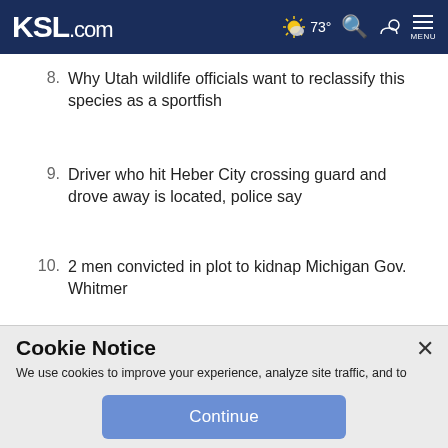KSL.com — 73° weather, search, account, menu
8. Why Utah wildlife officials want to reclassify this species as a sportfish
9. Driver who hit Heber City crossing guard and drove away is located, police say
10. 2 men convicted in plot to kidnap Michigan Gov. Whitmer
Cookie Notice
We use cookies to improve your experience, analyze site traffic, and to personalize content and ads. By continuing to use our site, you consent to our use of cookies. Please visit our Terms of Use and Privacy Policy for more information.
Continue